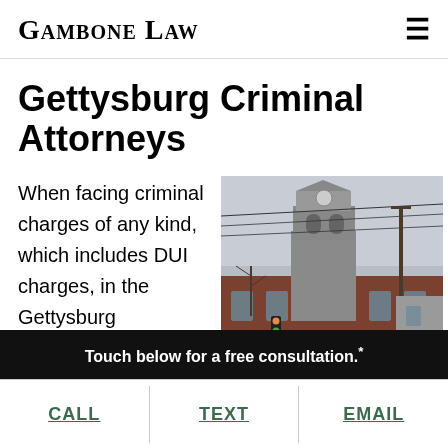Gambone Law
Gettysburg Criminal Attorneys
When facing criminal charges of any kind, which includes DUI charges, in the Gettysburg...
[Figure (photo): Photograph of a historic brick courthouse building with a clock tower, utility poles, and traffic lights visible in the foreground against an overcast sky.]
Touch below for a free consultation.*
CALL
TEXT
EMAIL